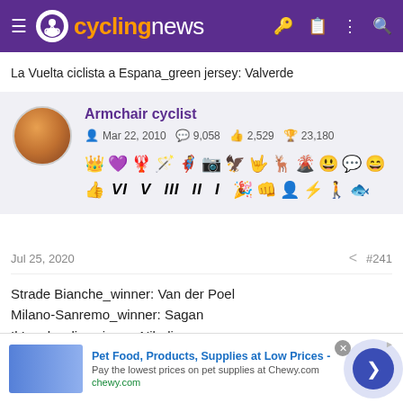cyclingnews
La Vuelta ciclista a Espana_green jersey: Valverde
Armchair cyclist
Mar 22, 2010  9,058  2,529  23,180
Jul 25, 2020  #241
Strade Bianche_winner: Van der Poel
Milano-Sanremo_winner: Sagan
Il Lombardia_winner: Nibali
Tour de France_1. place: Roglic
[Figure (screenshot): Advertisement banner for Chewy.com pet supplies]